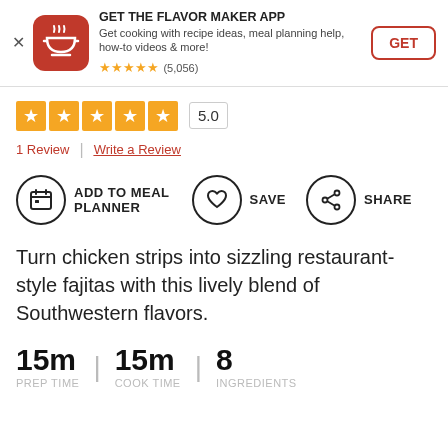[Figure (infographic): App banner with red icon showing cooking bowl, title GET THE FLAVOR MAKER APP, description text, star rating (5,056), and GET button]
[Figure (infographic): Five orange star rating boxes showing 5.0 score in bordered box]
1 Review | Write a Review
[Figure (infographic): Three action buttons: ADD TO MEAL PLANNER (calendar icon), SAVE (heart icon), SHARE (share icon)]
Turn chicken strips into sizzling restaurant-style fajitas with this lively blend of Southwestern flavors.
15m PREP TIME | 15m COOK TIME | 8 INGREDIENTS